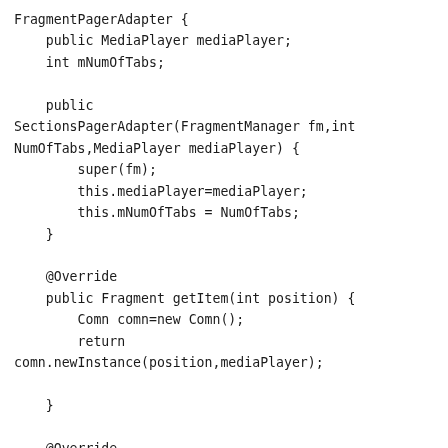FragmentPagerAdapter {
    public MediaPlayer mediaPlayer;
    int mNumOfTabs;

    public
SectionsPagerAdapter(FragmentManager fm,int
NumOfTabs,MediaPlayer mediaPlayer) {
        super(fm);
        this.mediaPlayer=mediaPlayer;
        this.mNumOfTabs = NumOfTabs;
    }

    @Override
    public Fragment getItem(int position) {
        Comn comn=new Comn();
        return
comn.newInstance(position,mediaPlayer);

    }

    @Override
    public int getCount() {
        return mNumOfTabs;
    }
}